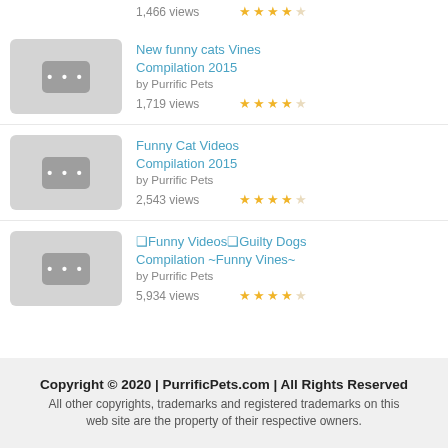1,466 views ★★★★☆
[Figure (screenshot): Video thumbnail placeholder with three dots icon]
New funny cats Vines Compilation 2015
by Purrific Pets
1,719 views ★★★★☆
[Figure (screenshot): Video thumbnail placeholder with three dots icon]
Funny Cat Videos Compilation 2015
by Purrific Pets
2,543 views ★★★★☆
[Figure (screenshot): Video thumbnail placeholder with three dots icon]
❑Funny Videos❑Guilty Dogs Compilation ~Funny Vines~
by Purrific Pets
5,934 views ★★★★☆
Copyright © 2020 | PurrificPets.com | All Rights Reserved
All other copyrights, trademarks and registered trademarks on this web site are the property of their respective owners.